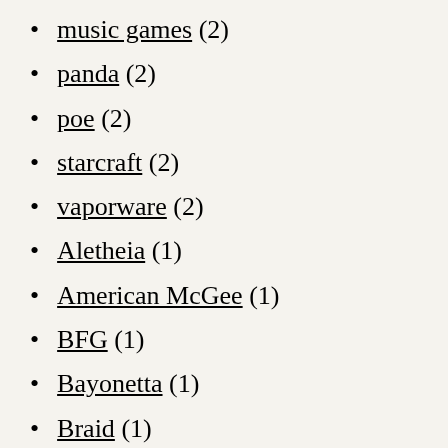music games (2)
panda (2)
poe (2)
starcraft (2)
vaporware (2)
Aletheia (1)
American McGee (1)
BFG (1)
Bayonetta (1)
Braid (1)